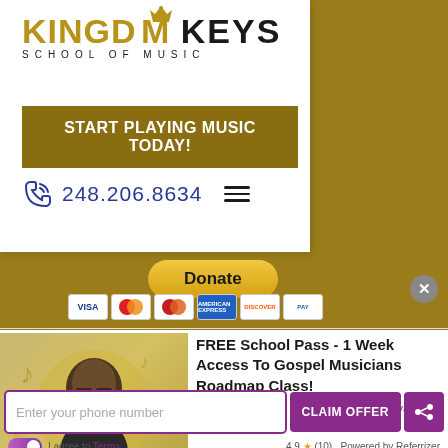[Figure (logo): Kingdom Keys School of Music logo with crown icon, gold and black text]
START PLAYING MUSIC TODAY!
248.206.8634
Donate
[Figure (illustration): Payment method icons: Visa, Mastercard, Maestro, American Express, Discover, and one more card]
[Figure (photo): Portrait photo of a smiling man in a suit with glasses against a musical notes background]
FREE School Pass - 1 Week Access To Gospel Musicians Roadmap Class!
Expires in 26 days
Available 7
Enter your phone number
CLAIM OFFER
I agree to Terms
4.9 ★ (10)  Powered by Referrizer